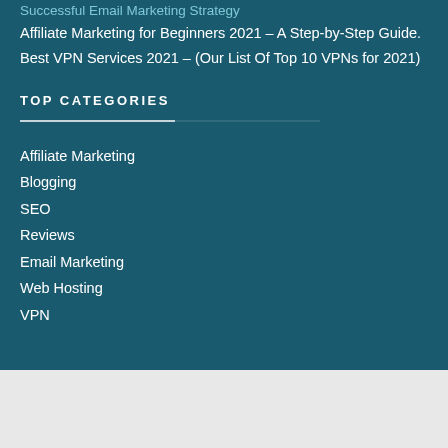Successful Email Marketing Strategy
Affiliate Marketing for Beginners 2021 – A Step-by-Step Guide.
Best VPN Services 2021 – (Our List Of Top 10 VPNs for 2021)
TOP CATEGORIES
Affiliate Marketing
Blogging
SEO
Reviews
Email Marketing
Web Hosting
VPN